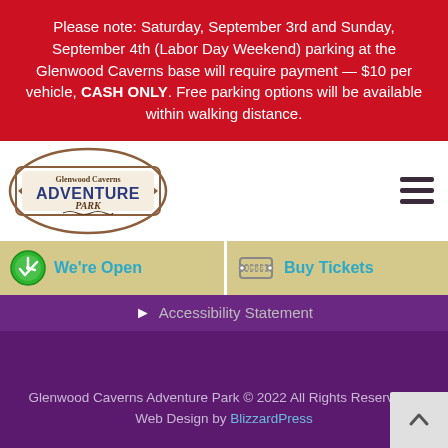Please note: Saturday, September 3rd and Sunday, September 4th (Labor Day Weekend) parking at the Glenwood Caverns base will require payment — $10 per vehicle, CASH ONLY. Free parking options will be available within walking distance.
[Figure (logo): Glenwood Caverns Adventure Park logo — ornate badge shape with brown border, text reading 'Glenwood Caverns Adventure Park']
We're Open
Buy Tickets
Accessibility Statement
Glenwood Caverns Adventure Park © 2022 All Rights Reserved. | Web Design by BlizzardPress